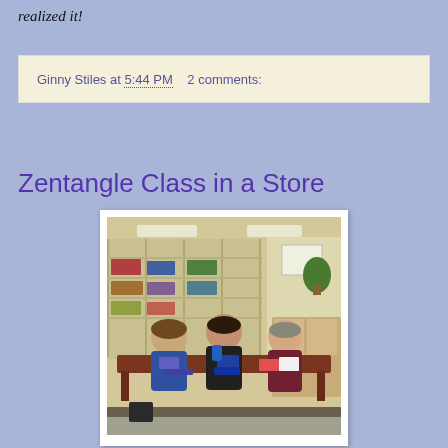realized it!
Ginny Stiles at 5:44 PM    2 comments:
Zentangle Class in a Store
[Figure (photo): Three women sitting at a brown table in a craft store, working on Zentangle art. Shelves with craft supplies visible in the background.]